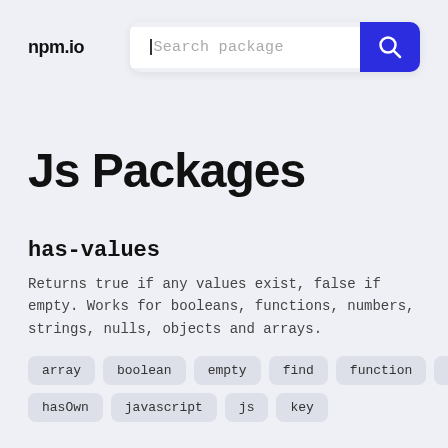npm.io
[Figure (other): Search package input box with magnifying glass button on blue background]
Js Packages
has-values
Returns true if any values exist, false if empty. Works for booleans, functions, numbers, strings, nulls, objects and arrays.
array
boolean
empty
find
function
has
hasOwn
javascript
js
key